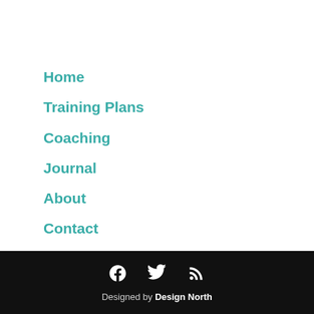Home
Training Plans
Coaching
Journal
About
Contact
Designed by Design North